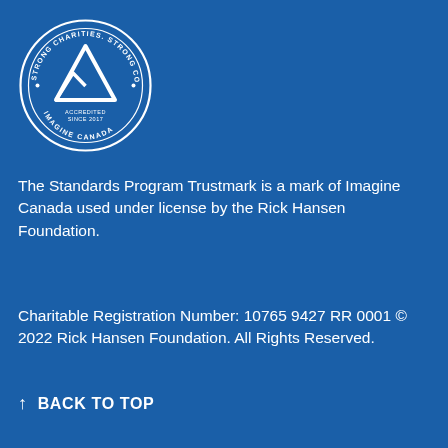[Figure (logo): Imagine Canada Standards Program Trustmark seal — circular badge with text 'STRONG CHARITIES. STRONG COMMUNITIES.' and 'IMAGINE CANADA' and 'ACCREDITED SINCE 2017' around a triangular mountain/geometric logo in white on blue background]
The Standards Program Trustmark is a mark of Imagine Canada used under license by the Rick Hansen Foundation.
Charitable Registration Number: 10765 9427 RR 0001 © 2022 Rick Hansen Foundation. All Rights Reserved.
↑   BACK TO TOP